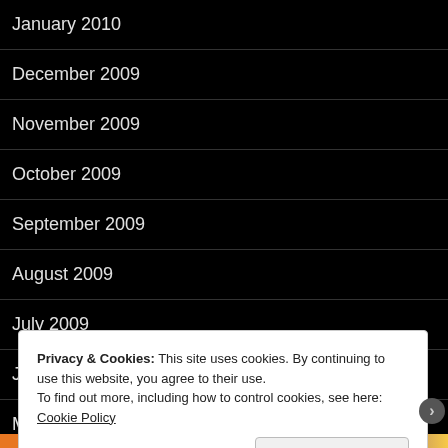January 2010
December 2009
November 2009
October 2009
September 2009
August 2009
July 2009
June 2009
May 2009
Privacy & Cookies: This site uses cookies. By continuing to use this website, you agree to their use.
To find out more, including how to control cookies, see here: Cookie Policy
Close and accept